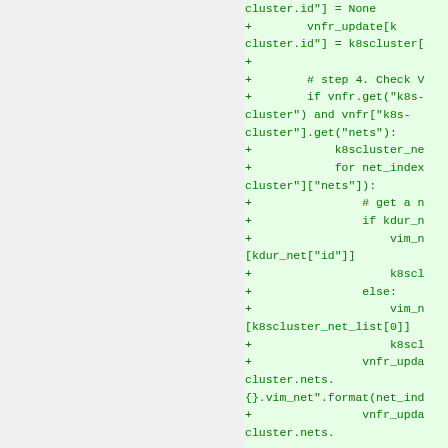[Figure (screenshot): Code diff snippet showing Python code additions for vnfr_update and k8scluster net handling, displayed with green background diff format]